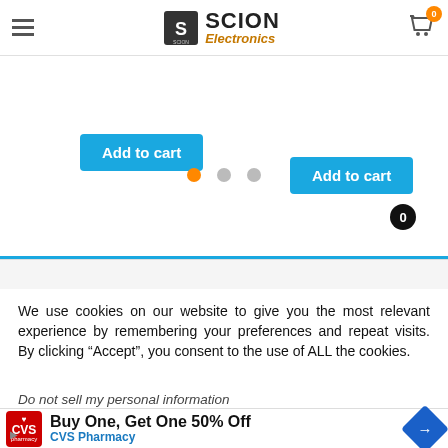[Figure (screenshot): Scion Electronics website header with hamburger menu, logo, and cart icon with badge 0]
[Figure (screenshot): Two blue 'Add to cart' buttons visible from product carousel]
[Figure (screenshot): Carousel pagination dots: first dot orange (active), second and third gray (inactive)]
[Figure (screenshot): Floating orange shopping cart widget with black badge showing 0]
We use cookies on our website to give you the most relevant experience by remembering your preferences and repeat visits. By clicking “Accept”, you consent to the use of ALL the cookies.
Do not sell my personal information
[Figure (screenshot): CVS Pharmacy advertisement banner: Buy One, Get One 50% Off]